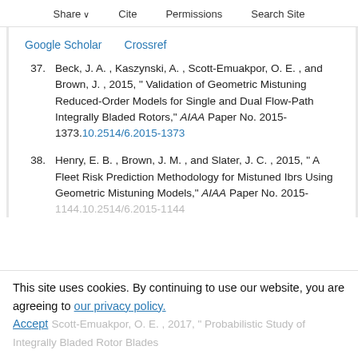Share  Cite  Permissions  Search Site
Google Scholar    Crossref
37. Beck, J. A. , Kaszynski, A. , Scott-Emuakpor, O. E. , and Brown, J. , 2015, “ Validation of Geometric Mistuning Reduced-Order Models for Single and Dual Flow-Path Integrally Bladed Rotors,” AIAA Paper No. 2015-1373.10.2514/6.2015-1373
38. Henry, E. B. , Brown, J. M. , and Slater, J. C. , 2015, “ A Fleet Risk Prediction Methodology for Mistuned Ibrs Using Geometric Mistuning Models,” AIAA Paper No. 2015-1144.10.2514/6.2015-1144
This site uses cookies. By continuing to use our website, you are agreeing to our privacy policy. Accept
Scott-Emuakpor, O. E. , 2017, “ Probabilistic Study of Integrally Bladed Rotor Blades...